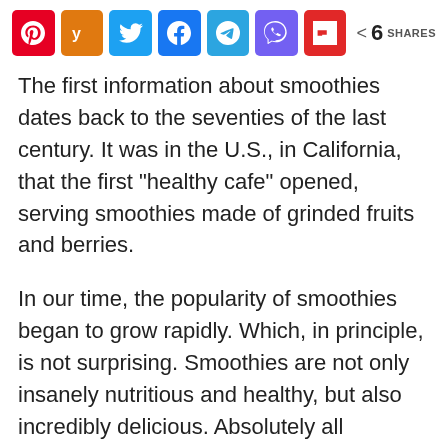[Figure (other): Social media share buttons bar: Pinterest (red), Yummly (orange), Twitter (blue), Facebook (blue), Telegram (light blue), Viber (purple), Flipboard (red), and a share count showing 6 SHARES]
The first information about smoothies dates back to the seventies of the last century. It was in the U.S., in California, that the first “healthy cafe” opened, serving smoothies made of grinded fruits and berries.
In our time, the popularity of smoothies began to grow rapidly. Which, in principle, is not surprising. Smoothies are not only insanely nutritious and healthy, but also incredibly delicious. Absolutely all adherents of healthy eating have long